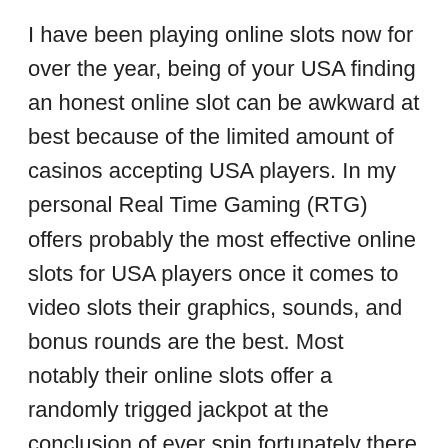I have been playing online slots now for over the year, being of your USA finding an honest online slot can be awkward at best because of the limited amount of casinos accepting USA players. In my personal Real Time Gaming (RTG) offers probably the most effective online slots for USA players once it comes to video slots their graphics, sounds, and bonus rounds are the best. Most notably their online slots offer a randomly trigged jackpot at the conclusion of ever spin fortunately there is a chance for this progressive jackpot to trigger. Here are several the best USA online slots.
Online slot owners offer you to explanations why necessary verbiage. As it can be seen, everything was in your hands, just be braver and go ahead to winning in